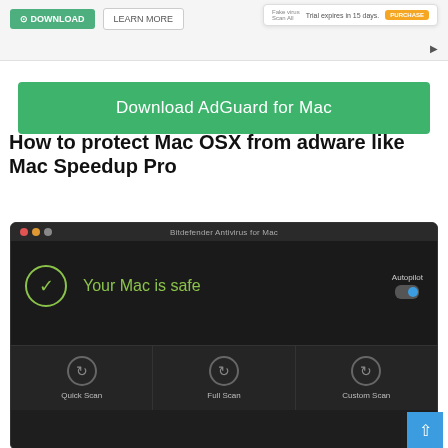[Figure (screenshot): Top partial screenshot showing a download button, learn more button, and a trial popup saying 'Trial expires in 15 days' with a PURCHASE button]
[Figure (screenshot): Green Download AdGuard for Mac banner button]
How to protect Mac OSX from adware like Mac Speedup Pro
[Figure (screenshot): Bitdefender Antivirus for Mac application screenshot showing dark UI with 'Your Mac is safe' in green text, a checkmark circle, Autopilot toggle, and three scan options: Quick Scan, Full Scan, Custom Scan]